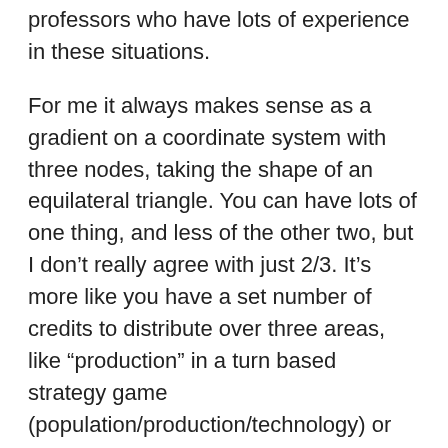professors who have lots of experience in these situations.
For me it always makes sense as a gradient on a coordinate system with three nodes, taking the shape of an equilateral triangle. You can have lots of one thing, and less of the other two, but I don’t really agree with just 2/3. It’s more like you have a set number of credits to distribute over three areas, like “production” in a turn based strategy game (population/production/technology) or picking a player’s abilities in a sports video game (speed, agility, accuracy).
I have always felt that even in design or engineering you can pick the middle point and try to stay close to